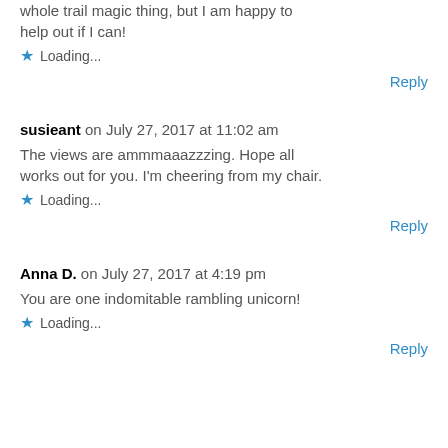whole trail magic thing, but I am happy to help out if I can!
Loading...
Reply
susieant on July 27, 2017 at 11:02 am
The views are ammmaaazzzing. Hope all works out for you. I'm cheering from my chair.
Loading...
Reply
Anna D. on July 27, 2017 at 4:19 pm
You are one indomitable rambling unicorn!
Loading...
Reply